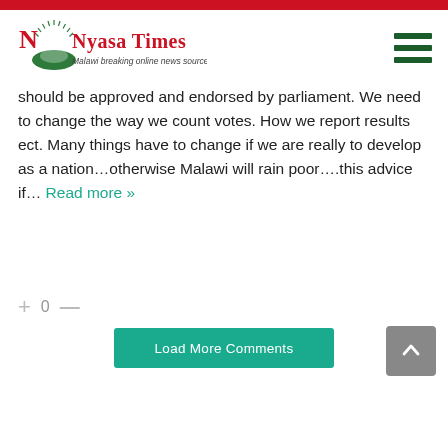[Figure (logo): Nyasa Times logo - Malawi breaking online news source, with red text and green arch/sun graphic]
should be approved and endorsed by parliament. We need to change the way we count votes. How we report results ect. Many things have to change if we are really to develop as a nation…otherwise Malawi will rain poor….this advice if… Read more »
+ 0 —
Load More Comments